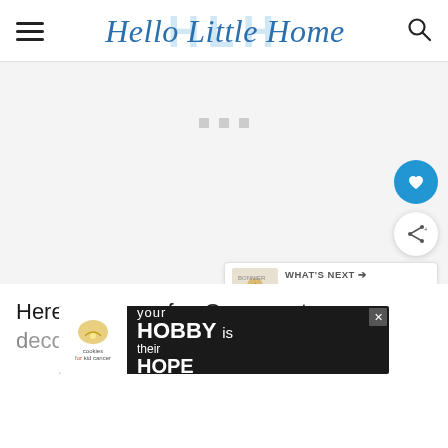Hello Little Home
[Figure (screenshot): Large light gray content/ad area placeholder with three small gray dots centered near top]
[Figure (infographic): WHAT'S NEXT arrow label with thumbnail and text: 2022 Printable Oscar Ballot]
Here are some fun Oscar party d[ecoration ideas to make your] party
[Figure (screenshot): Ad banner: cookies for kid cancer / your HOBBY is their HOPE]